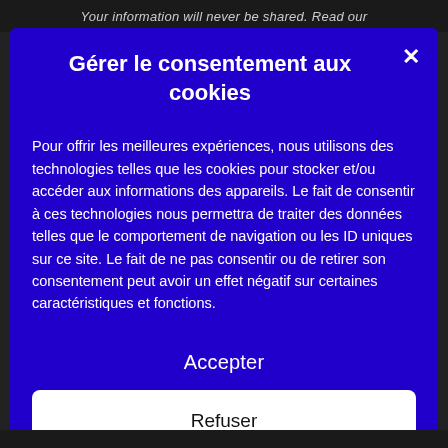Your information will never be shared. Read our
Gérer le consentement aux cookies
Pour offrir les meilleures expériences, nous utilisons des technologies telles que les cookies pour stocker et/ou accéder aux informations des appareils. Le fait de consentir à ces technologies nous permettra de traiter des données telles que le comportement de navigation ou les ID uniques sur ce site. Le fait de ne pas consentir ou de retirer son consentement peut avoir un effet négatif sur certaines caractéristiques et fonctions.
Accepter
Refuser
Voir les préférences
Politique de confidentialité